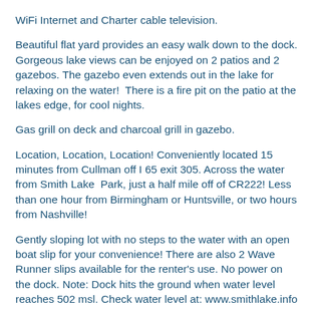WiFi Internet and Charter cable television.
Beautiful flat yard provides an easy walk down to the dock. Gorgeous lake views can be enjoyed on 2 patios and 2 gazebos. The gazebo even extends out in the lake for relaxing on the water!  There is a fire pit on the patio at the lakes edge, for cool nights.
Gas grill on deck and charcoal grill in gazebo.
Location, Location, Location! Conveniently located 15 minutes from Cullman off I 65 exit 305. Across the water from Smith Lake  Park, just a half mile off of CR222! Less than one hour from Birmingham or Huntsville, or two hours from Nashville!
Gently sloping lot with no steps to the water with an open boat slip for your convenience! There are also 2 Wave Runner slips available for the renter's use. No power on the dock. Note: Dock hits the ground when water level reaches 502 msl. Check water level at: www.smithlake.info
Bedroom 1: King size bed, main floor, private bath
Bedroom 2: Queen size bed - main floor - (bedrooms 2 and 3 share a hall bathroom with a nice tub, sink and toilet)